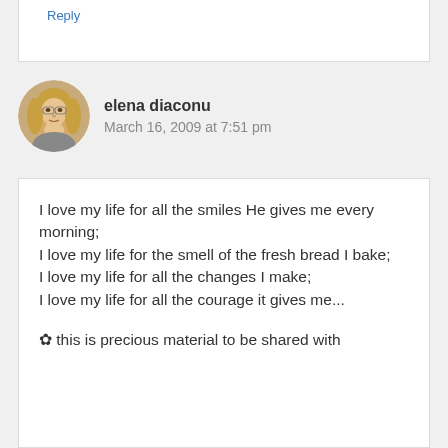Reply
elena diaconu
March 16, 2009 at 7:51 pm
I love my life for all the smiles He gives me every morning;
I love my life for the smell of the fresh bread I bake;
I love my life for all the changes I make;
I love my life for all the courage it gives me...

✿ this is precious material to be shared with